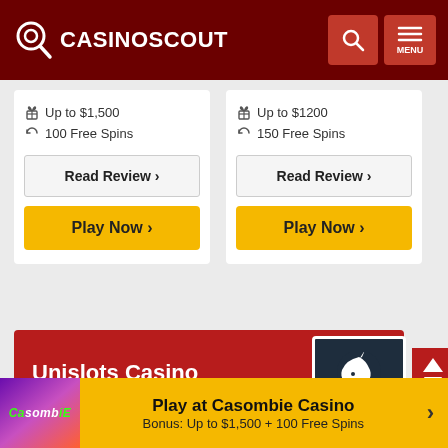CASINOSCOUT
Up to $1,500 | 100 Free Spins | Read Review > | Play Now >
Up to $1200 | 150 Free Spins | Read Review > | Play Now >
Unislots Casino
Play at Casombie Casino — Bonus: Up to $1,500 + 100 Free Spins